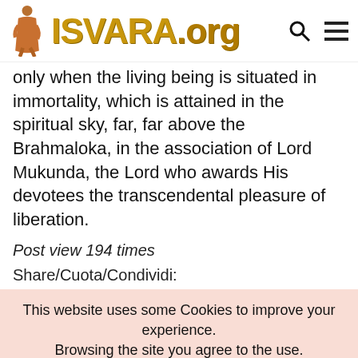[Figure (logo): ISVARA.org website logo with a robed walking figure and golden stylized text 'ISVARA.org', plus search and hamburger menu icons]
only when the living being is situated in immortality, which is attained in the spiritual sky, far, far above the Brahmaloka, in the association of Lord Mukunda, the Lord who awards His devotees the transcendental pleasure of liberation.
Post view 194 times
Share/Cuota/Condividi:
This website uses some Cookies to improve your experience. Browsing the site you agree to the use. Questo sito utilizza alcuni Cookie di supporto per una migliore esperienza di navigazione. Navigando sul sito ne accetti l'uso.
Read More  OK Close  Cookie Settings